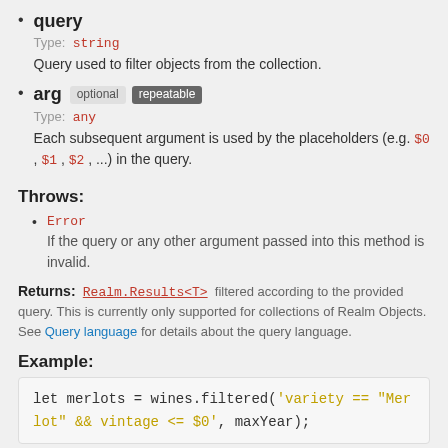query
Type: string
Query used to filter objects from the collection.
arg [optional] [repeatable]
Type: any
Each subsequent argument is used by the placeholders (e.g. $0, $1, $2, ...) in the query.
Throws:
Error
If the query or any other argument passed into this method is invalid.
Returns: Realm.Results<T> filtered according to the provided query. This is currently only supported for collections of Realm Objects. See Query language for details about the query language.
Example:
let merlots = wines.filtered('variety == "Merlot" && vintage <= $0', maxYear);